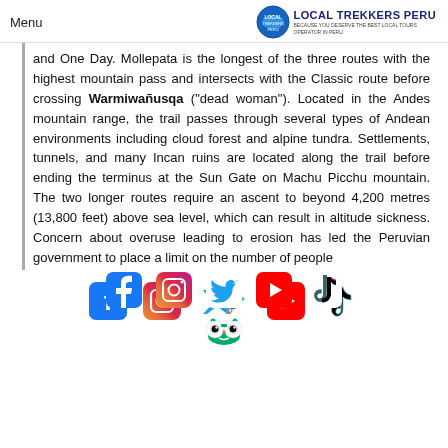Menu | LOCAL TREKKERS PERU
and One Day. Mollepata is the longest of the three routes with the highest mountain pass and intersects with the Classic route before crossing Warmiwañusqa ("dead woman"). Located in the Andes mountain range, the trail passes through several types of Andean environments including cloud forest and alpine tundra. Settlements, tunnels, and many Incan ruins are located along the trail before ending the terminus at the Sun Gate on Machu Picchu mountain. The two longer routes require an ascent to beyond 4,200 metres (13,800 feet) above sea level, which can result in altitude sickness. Concern about overuse leading to erosion has led the Peruvian government to place a limit on the number of people
[Figure (logo): Social media icons: Facebook, Instagram, Twitter, YouTube, TikTok, TripAdvisor]
[Figure (logo): TripAdvisor owl logo]